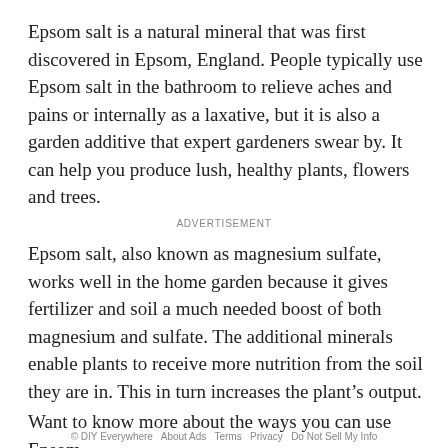Epsom salt is a natural mineral that was first discovered in Epsom, England. People typically use Epsom salt in the bathroom to relieve aches and pains or internally as a laxative, but it is also a garden additive that expert gardeners swear by. It can help you produce lush, healthy plants, flowers and trees.
ADVERTISEMENT
Epsom salt, also known as magnesium sulfate, works well in the home garden because it gives fertilizer and soil a much needed boost of both magnesium and sulfate. The additional minerals enable plants to receive more nutrition from the soil they are in. This in turn increases the plant’s output.
Want to know more about the ways you can use Epsom
© DIY Everywhere  About Ads  Terms  Privacy  Do Not Sell My Info